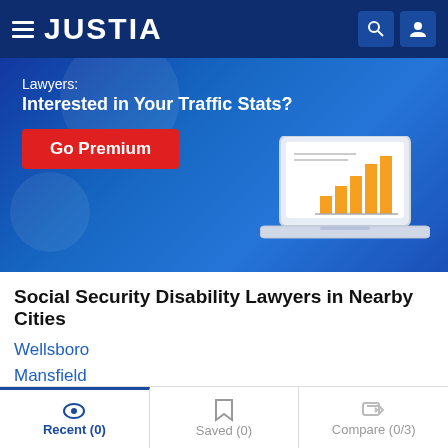JUSTIA
[Figure (infographic): Justia premium banner ad with 'Lawyers: Interested in Your Traffic Stats?' text, a red 'Go Premium' button, and a laptop illustration showing bar charts]
Social Security Disability Lawyers in Nearby Cities
Wellsboro
Mansfield
Coudersport
Canton
Recent (0)   Saved (0)   Compare (0/3)